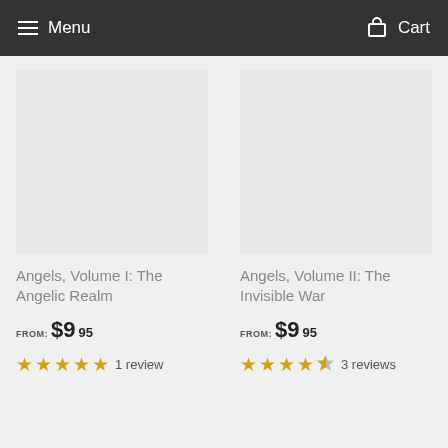Menu   Cart
Angels, Volume I: The Angelic Realm
FROM: $9.95
5 stars · 1 review
Angels, Volume II: The Invisible War
FROM: $9.95
4.5 stars · 3 reviews